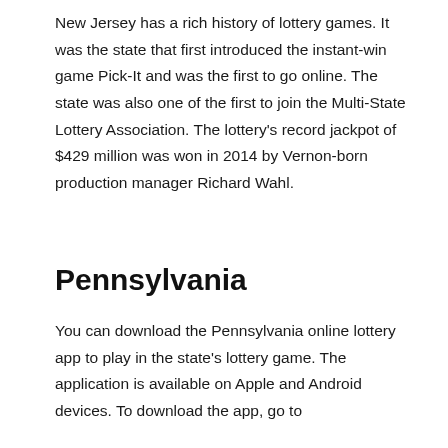New Jersey has a rich history of lottery games. It was the state that first introduced the instant-win game Pick-It and was the first to go online. The state was also one of the first to join the Multi-State Lottery Association. The lottery's record jackpot of $429 million was won in 2014 by Vernon-born production manager Richard Wahl.
Pennsylvania
You can download the Pennsylvania online lottery app to play in the state's lottery game. The application is available on Apple and Android devices. To download the app, go to